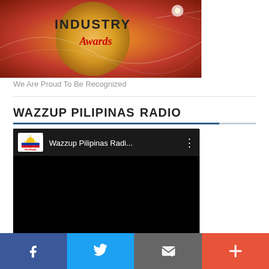[Figure (photo): Industry Awards banner image with orange and gold background showing 'INDUSTRY Awards' text]
We Are Proud To Be Recognized
WAZZUP PILIPINAS RADIO
[Figure (screenshot): YouTube embedded video player showing Wazzup Pilipinas Radio channel, black player with channel logo and title 'Wazzup Pilipinas Radi...']
[Figure (infographic): Social sharing bar at bottom with Facebook, Twitter, Email, and More (+) buttons]